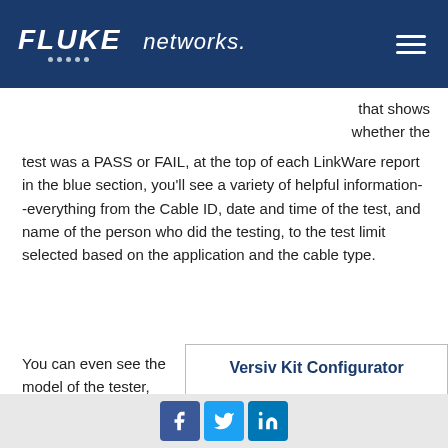FLUKE networks.
that shows whether the test was a PASS or FAIL, at the top of each LinkWare report in the blue section, you'll see a variety of helpful information--everything from the Cable ID, date and time of the test, and name of the person who did the testing, to the test limit selected based on the application and the cable type.
You can even see the model of the tester, serial numbers for both the
Versiv Kit Configurator
How will you be using your Versiv?
Social icons: Facebook, Twitter, LinkedIn